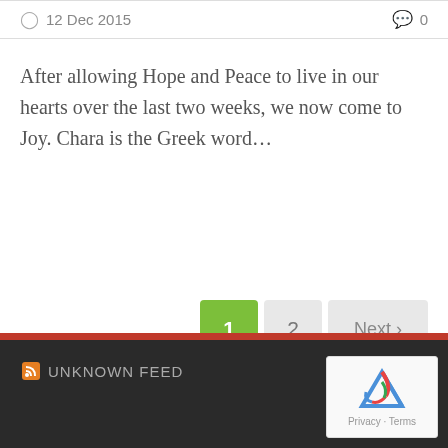12 Dec 2015   0
After allowing Hope and Peace to live in our hearts over the last two weeks, we now come to Joy. Chara is the Greek word…
1  2  Next ›
UNKNOWN FEED   Privacy · Terms